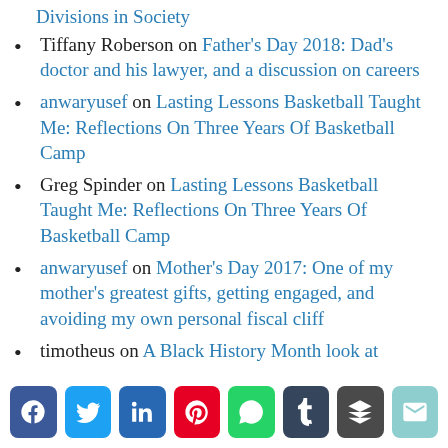Divisions in Society
Tiffany Roberson on Father's Day 2018: Dad's doctor and his lawyer, and a discussion on careers
anwaryusef on Lasting Lessons Basketball Taught Me: Reflections On Three Years Of Basketball Camp
Greg Spinder on Lasting Lessons Basketball Taught Me: Reflections On Three Years Of Basketball Camp
anwaryusef on Mother's Day 2017: One of my mother's greatest gifts, getting engaged, and avoiding my own personal fiscal cliff
timotheus on A Black History Month look at
[Figure (infographic): Social share buttons: Facebook, Twitter, LinkedIn, Pinterest, WhatsApp, Tumblr, Buffer, Email]